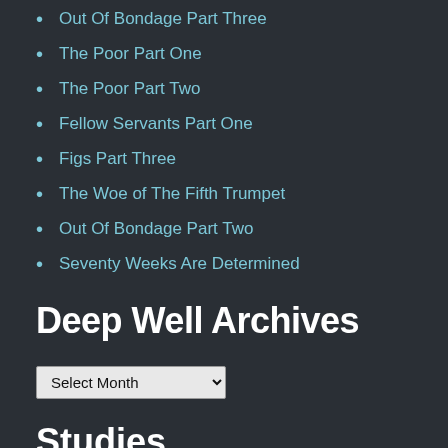Out Of Bondage Part Three
The Poor Part One
The Poor Part Two
Fellow Servants Part One
Figs Part Three
The Woe of The Fifth Trumpet
Out Of Bondage Part Two
Seventy Weeks Are Determined
Deep Well Archives
Select Month (dropdown)
Studies
Kenites (dropdown)